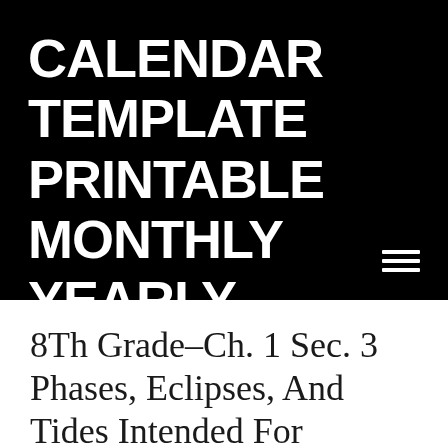CALENDAR TEMPLATE PRINTABLE MONTHLY YEARLY
8Th Grade–Ch. 1 Sec. 3 Phases, Eclipses, And Tides Intended For Moon Phases Activities